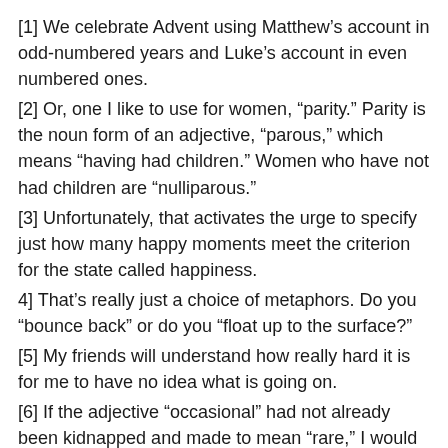[1] We celebrate Advent using Matthew’s account in odd-numbered years and Luke’s account in even numbered ones.
[2] Or, one I like to use for women, “parity.” Parity is the noun form of an adjective, “parous,” which means “having had children.” Women who have not had children are “nulliparous.”
[3] Unfortunately, that activates the urge to specify just how many happy moments meet the criterion for the state called happiness.
4] That’s really just a choice of metaphors. Do you “bounce back” or do you “float up to the surface?”
[5] My friends will understand how really hard it is for me to have no idea what is going on.
[6] If the adjective “occasional” had not already been kidnapped and made to mean “rare,” I would be able to